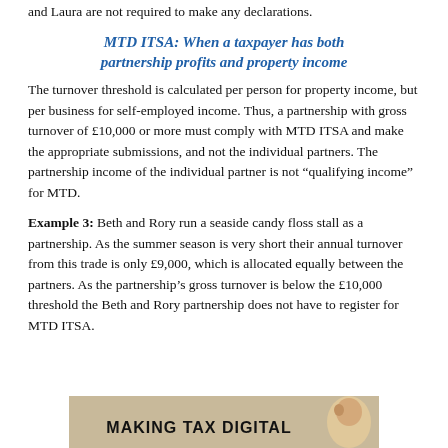and Laura are not required to make any declarations.
MTD ITSA: When a taxpayer has both partnership profits and property income
The turnover threshold is calculated per person for property income, but per business for self-employed income. Thus, a partnership with gross turnover of £10,000 or more must comply with MTD ITSA and make the appropriate submissions, and not the individual partners. The partnership income of the individual partner is not “qualifying income” for MTD.
Example 3: Beth and Rory run a seaside candy floss stall as a partnership. As the summer season is very short their annual turnover from this trade is only £9,000, which is allocated equally between the partners. As the partnership’s gross turnover is below the £10,000 threshold the Beth and Rory partnership does not have to register for MTD ITSA.
[Figure (photo): A banner image showing 'MAKING TAX DIGITAL' text on a tan/beige background with a partial face/figure visible on the right side.]